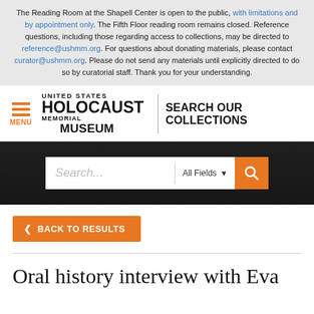The Reading Room at the Shapell Center is open to the public, with limitations and by appointment only. The Fifth Floor reading room remains closed. Reference questions, including those regarding access to collections, may be directed to reference@ushmm.org. For questions about donating materials, please contact curator@ushmm.org. Please do not send any materials until explicitly directed to do so by curatorial staff. Thank you for your understanding.
[Figure (logo): United States Holocaust Memorial Museum logo with hamburger menu and SEARCH OUR COLLECTIONS text]
[Figure (screenshot): Search bar with placeholder 'Search...' and 'All Fields' dropdown and orange search button]
< BACK TO RESULTS
Oral history interview with Eva